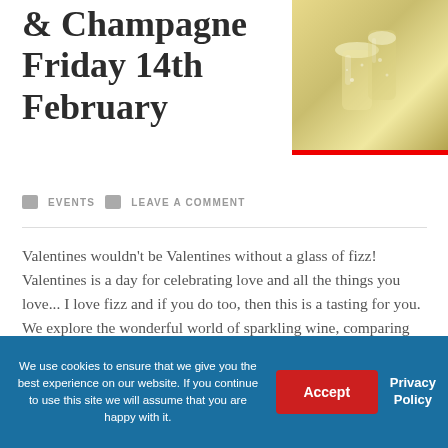& Champagne Friday 14th February
[Figure (photo): Champagne glasses with golden sparkling wine, with a red bar at the bottom of the image]
EVENTS   LEAVE A COMMENT
Valentines wouldn't be Valentines without a glass of fizz! Valentines is a day for celebrating love and all the things you love... I love fizz and if you do too, then this is a tasting for you. We explore the wonderful world of sparkling wine, comparing Prosecco and Champagne, tasting them side by side giving [...]
We use cookies to ensure that we give you the best experience on our website. If you continue to use this site we will assume that you are happy with it.
Accept
Privacy Policy